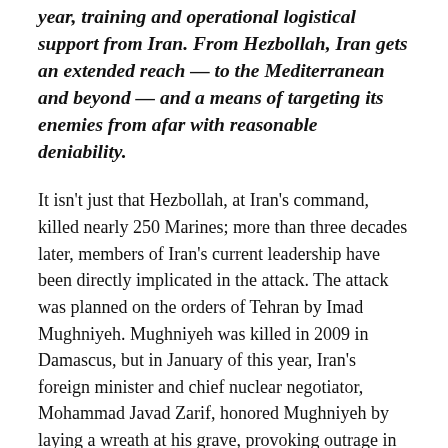year, training and operational logistical support from Iran. From Hezbollah, Iran gets an extended reach — to the Mediterranean and beyond — and a means of targeting its enemies from afar with reasonable deniability.
It isn't just that Hezbollah, at Iran's command, killed nearly 250 Marines; more than three decades later, members of Iran's current leadership have been directly implicated in the attack. The attack was planned on the orders of Tehran by Imad Mughniyeh. Mughniyeh was killed in 2009 in Damascus, but in January of this year, Iran's foreign minister and chief nuclear negotiator, Mohammad Javad Zarif, honored Mughniyeh by laying a wreath at his grave, provoking outrage in Washington. Iran's current defense minister, Hossein Dehghan, was Mughniyeh's boss during the